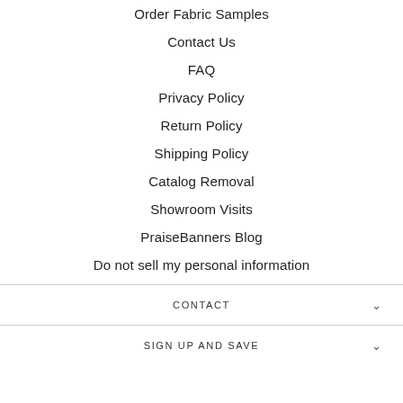Order Fabric Samples
Contact Us
FAQ
Privacy Policy
Return Policy
Shipping Policy
Catalog Removal
Showroom Visits
PraiseBanners Blog
Do not sell my personal information
CONTACT
SIGN UP AND SAVE